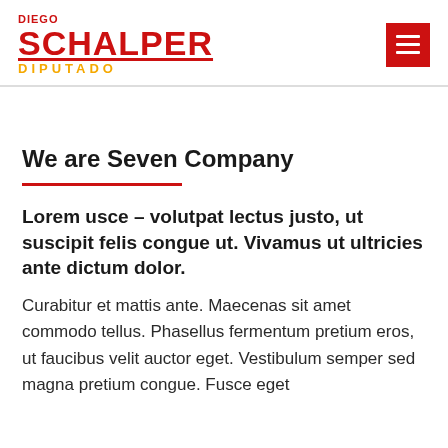DIEGO SCHALPER DIPUTADO
We are Seven Company
Lorem usce – volutpat lectus justo, ut suscipit felis congue ut. Vivamus ut ultricies ante dictum dolor.
Curabitur et mattis ante. Maecenas sit amet commodo tellus. Phasellus fermentum pretium eros, ut faucibus velit auctor eget. Vestibulum semper sed magna pretium congue. Fusce eget